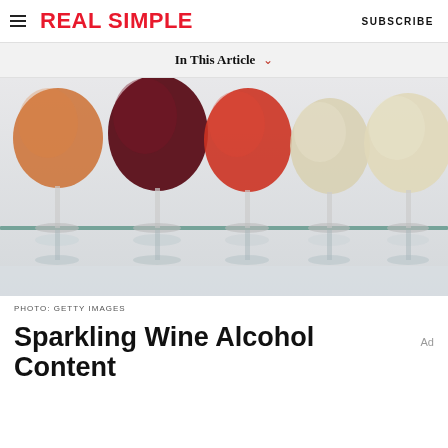REAL SIMPLE  SUBSCRIBE
In This Article
[Figure (photo): Multiple wine glasses filled with different colors of wine — red, rosé, white — on a glass shelf, photographed from below against a light background.]
PHOTO: GETTY IMAGES
Sparkling Wine Alcohol Content